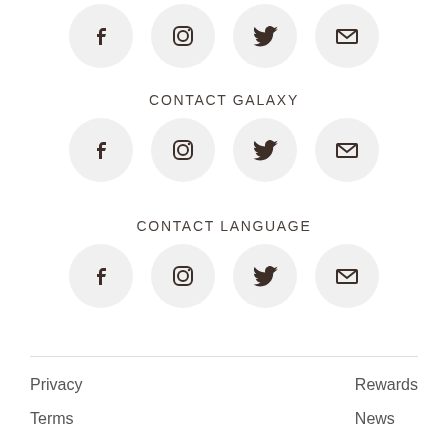[Figure (illustration): Row of four social media icon circles (Facebook, Instagram, Twitter, Email) at top of page]
CONTACT GALAXY
[Figure (illustration): Row of four social media icon circles (Facebook, Instagram, Twitter, Email) for Contact Galaxy section]
CONTACT LANGUAGE
[Figure (illustration): Row of four social media icon circles (Facebook, Instagram, Twitter, Email) for Contact Language section]
Privacy
Rewards
Terms
News